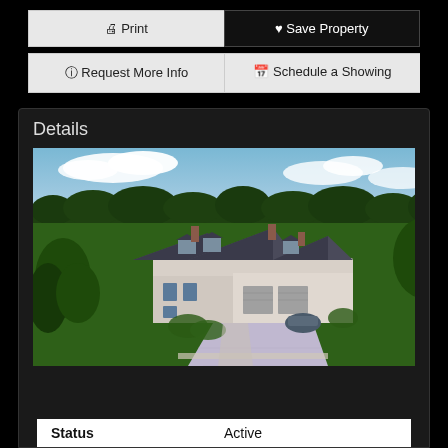🖨 Print
♥ Save Property
ℹ Request More Info
📅 Schedule a Showing
Details
[Figure (photo): Aerial rendering of a large luxury house with multiple roof sections, chimneys, and a long driveway, surrounded by trees and green landscape.]
Status    Active